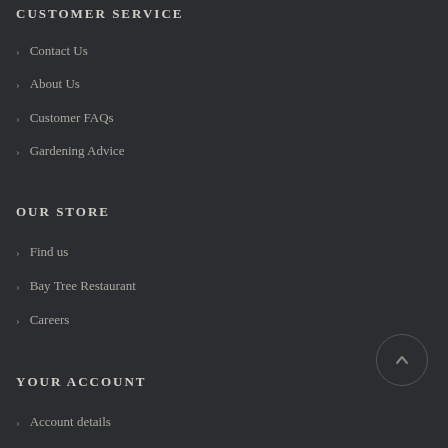CUSTOMER SERVICE
Contact Us
About Us
Customer FAQs
Gardening Advice
OUR STORE
Find us
Bay Tree Restaurant
Careers
YOUR ACCOUNT
Account details